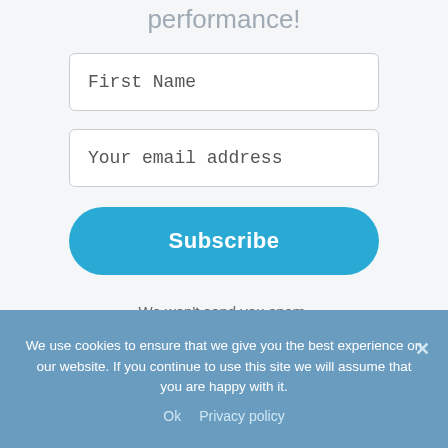performance!
First Name
Your email address
Subscribe
We won't send you spam.
Unsubscribe at any time.
We use cookies to ensure that we give you the best experience on our website. If you continue to use this site we will assume that you are happy with it.
Ok   Privacy policy